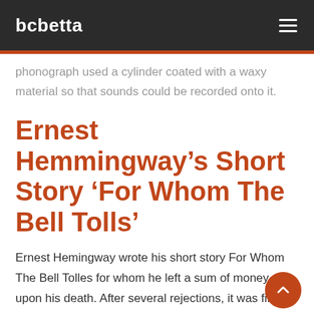bcbetta
phonograph used a cylinder coated with a waxy material so that sounds could be recorded onto it.
Ernest Hemmingway’s Short Story ‘For Whom The Bell Tolls’
Ernest Hemingway wrote his short story For Whom The Bell Tolles for whom he left a sum of money upon his death. After several rejections, it was finally published in 1952 by Charles Scribner’s Sons in the London